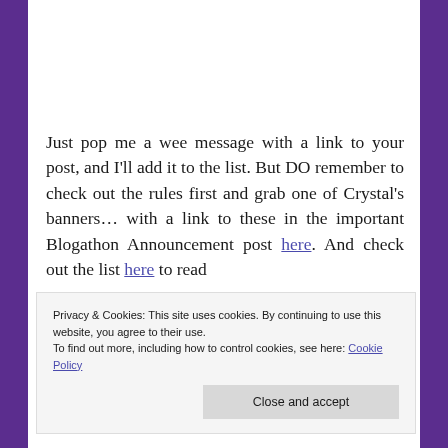Just pop me a wee message with a link to your post, and I'll add it to the list. But DO remember to check out the rules first and grab one of Crystal's banners… with a link to these in the important Blogathon Announcement post here. And check out the list here to read
Privacy & Cookies: This site uses cookies. By continuing to use this website, you agree to their use. To find out more, including how to control cookies, see here: Cookie Policy
the film title in italics to read the review… and